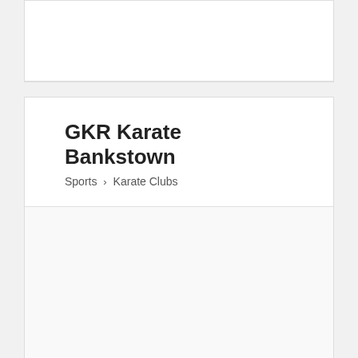GKR Karate Bankstown
Sports › Karate Clubs